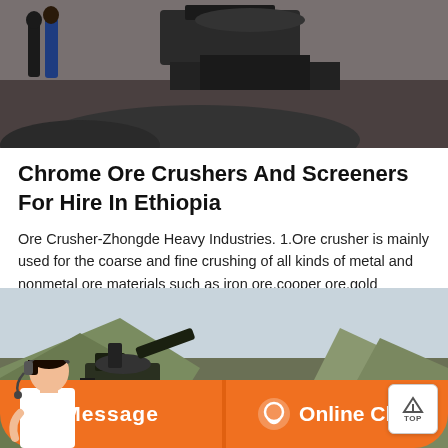[Figure (photo): Industrial ore crusher machinery in a facility with people visible in background, dark gravel/ore on ground]
Chrome Ore Crushers And Screeners For Hire In Ethiopia
Ore Crusher-Zhongde Heavy Industries. 1.Ore crusher is mainly used for the coarse and fine crushing of all kinds of metal and nonmetal ore materials such as iron ore,cooper ore,gold ore,manganese ore,chrome ore,etc 2.The leading ore crushers produced by our company include jaw crusher ,cone crusher,mobile crusher,etc. Cone Crusher is ususally ...
[Figure (photo): Outdoor mining scene with ore crusher machinery against a mountainous landscape background]
[Figure (photo): Customer service agent with headset representing Message and Online Chat support buttons]